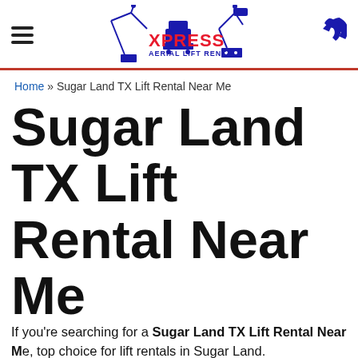XPRESS AERIAL LIFT RENTALS
Home » Sugar Land TX Lift Rental Near Me
Sugar Land TX Lift Rental Near Me
If you're searching for a Sugar Land TX Lift Rental Near Me, top choice for lift rentals in Sugar Land.